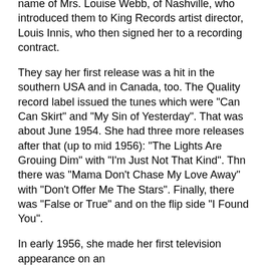name of Mrs. Louise Webb, of Nashville, who introduced them to King Records artist director, Louis Innis, who then signed her to a recording contract.
They say her first release was a hit in the southern USA and in Canada, too. The Quality record label issued the tunes which were "Can Can Skirt" and "My Sin of Yesterday". That was about June 1954. She had three more releases after that (up to mid 1956): "The Lights Are Grouing Dim" with "I'm Just Not That Kind". Thn there was "Mama Don't Chase My Love Away" with "Don't Offer Me The Stars". Finally, there was "False or True" and on the flip side "I Found You".
In early 1956, she made her first television appearance on an